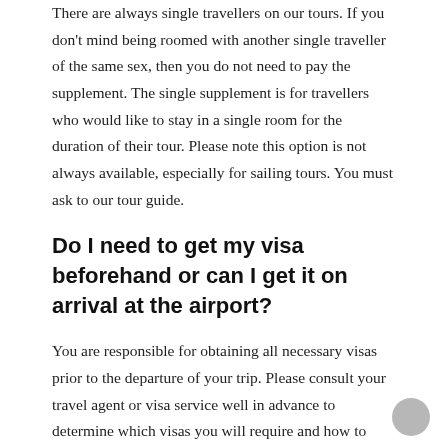There are always single travellers on our tours. If you don't mind being roomed with another single traveller of the same sex, then you do not need to pay the supplement. The single supplement is for travellers who would like to stay in a single room for the duration of their tour. Please note this option is not always available, especially for sailing tours. You must ask to our tour guide.
Do I need to get my visa beforehand or can I get it on arrival at the airport?
You are responsible for obtaining all necessary visas prior to the departure of your trip. Please consult your travel agent or visa service well in advance to determine which visas you will require and how to obtain them. Failure to obtain all necessary visas could result in you not being allowed to enter the destination and could result in considerable expenses and inconvenience. Please also remember that on some tours you will need multiple visas to enter the same country more than once. You can discuss the same with